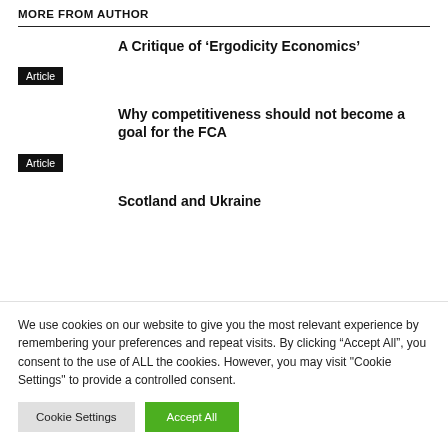MORE FROM AUTHOR
A Critique of ‘Ergodicity Economics’
Article
Why competitiveness should not become a goal for the FCA
Article
Scotland and Ukraine
We use cookies on our website to give you the most relevant experience by remembering your preferences and repeat visits. By clicking “Accept All”, you consent to the use of ALL the cookies. However, you may visit "Cookie Settings" to provide a controlled consent.
Cookie Settings
Accept All